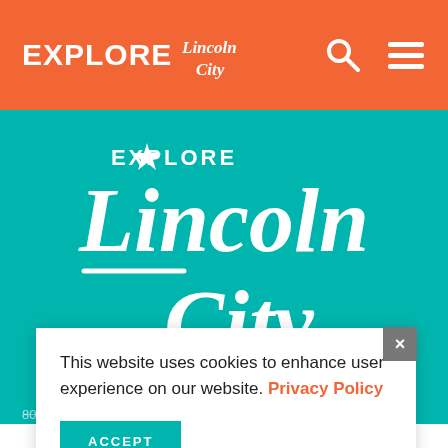EXPLORE Lincoln City
[Figure (logo): Explore Lincoln City logo — white script text 'Explore Lincoln City' with a star, on teal/green background]
801 Southwest Highway 101, Suite 401
This website uses cookies to enhance user experience on our website. Privacy Policy
ACCEPT